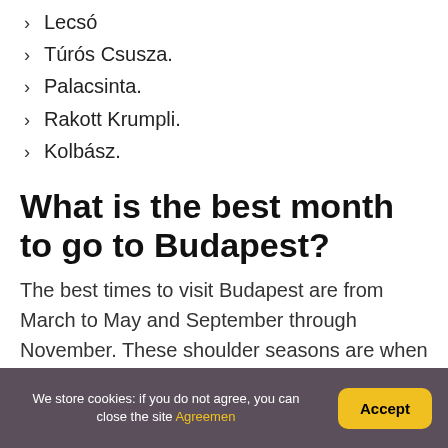Lecsó
Túrós Csusza.
Palacsinta.
Rakott Krumpli.
Kolbász.
What is the best month to go to Budapest?
The best times to visit Budapest are from March to May and September through November. These shoulder seasons are when the weather is idyllic and the city isn't
We store cookies: if you do not agree, you can close the site Agreemen